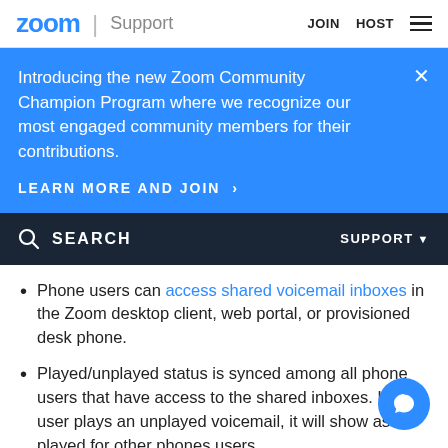zoom | Support   JOIN  HOST
Introducing the new Zoom Community Champion Program where we recognize our most engaged community members for their contributions.
LEARN MORE AND JOIN >
SEARCH   SUPPORT
Phone users can access shared voicemail inboxes in the Zoom desktop client, web portal, or provisioned desk phone.
Played/unplayed status is synced among all phone users that have access to the shared inboxes. If one user plays an unplayed voicemail, it will show as played for other phones users.
Any deleted voicemails will be deleted for all other phone users that have access. If you are sharing a